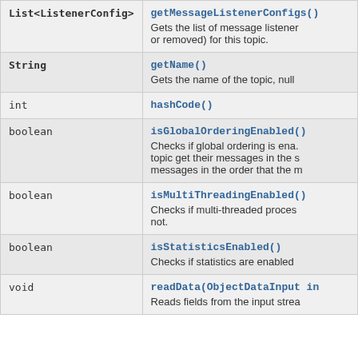| Type | Method and Description |
| --- | --- |
| List<ListenerConfig> | getMessageListenerConfigs()
Gets the list of message listener (or removed) for this topic. |
| String | getName()
Gets the name of the topic, null |
| int | hashCode() |
| boolean | isGlobalOrderingEnabled()
Checks if global ordering is ena. topic get their messages in the s messages in the order that the m |
| boolean | isMultiThreadingEnabled()
Checks if multi-threaded proces not. |
| boolean | isStatisticsEnabled()
Checks if statistics are enabled |
| void | readData(ObjectDataInput in
Reads fields from the input strea |